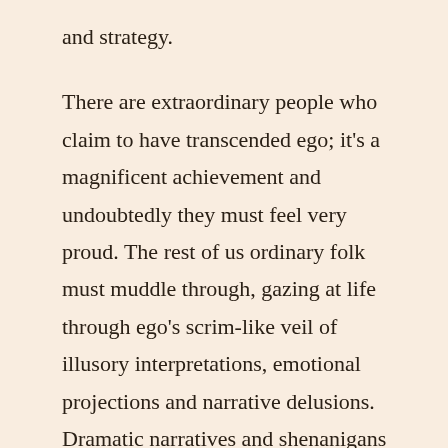and strategy.
There are extraordinary people who claim to have transcended ego; it's a magnificent achievement and undoubtedly they must feel very proud. The rest of us ordinary folk must muddle through, gazing at life through ego's scrim-like veil of illusory interpretations, emotional projections and narrative delusions. Dramatic narratives and shenanigans of all sorts is our daily fare as our daemon plays out a real-life version of Game of Thrones and its soap opera plot lines of power and survival.
Thus we all suffer from particular forms of torment, devising strategies clever and otherwise, to escape them. Distraction, in the form of entertainment, mind-altering